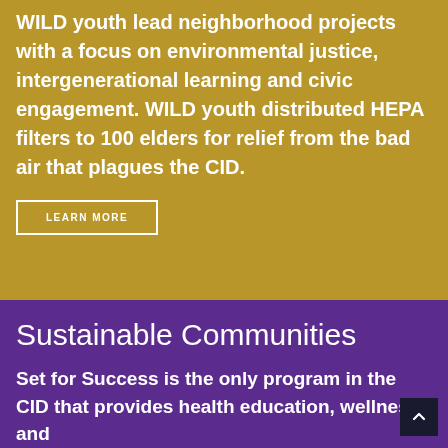WILD youth lead neighborhood projects with a focus on environmental justice, intergenerational learning and civic engagement. WILD youth distributed HEPA filters to 100 elders for relief from the bad air that plagues the CID.
LEARN MORE
Sustainable Communities
Set for Success is the only program in the CID that provides health education, wellness, and